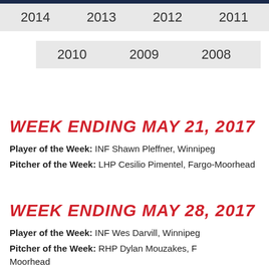| 2014 | 2013 | 2012 | 2011 |
| --- | --- | --- | --- |
| 2010 | 2009 | 2008 |
| --- | --- | --- |
WEEK ENDING MAY 21, 2017
Player of the Week: INF Shawn Pleffner, Winnipeg
Pitcher of the Week: LHP Cesilio Pimentel, Fargo-Moorhead
WEEK ENDING MAY 28, 2017
Player of the Week: INF Wes Darvill, Winnipeg
Pitcher of the Week: RHP Dylan Mouzakes, Fargo-Moorhead